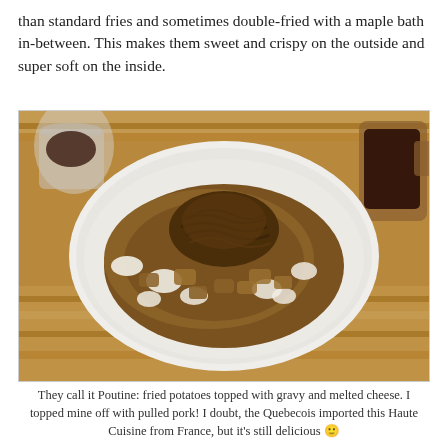than standard fries and sometimes double-fried with a maple bath in-between. This makes them sweet and crispy on the outside and super soft on the inside.
[Figure (photo): A plate of poutine (fried potatoes topped with gravy, melted cheese curds, and pulled pork) on a wooden table, with glasses of red wine visible in the background.]
They call it Poutine: fried potatoes topped with gravy and melted cheese. I topped mine off with pulled pork! I doubt, the Quebecois imported this Haute Cuisine from France, but it's still delicious 🙂